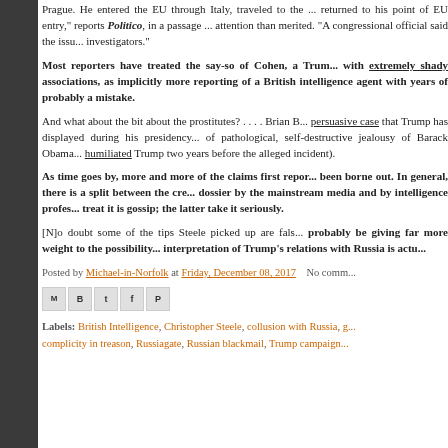returned to his point of EU entry," reports Politico, in a passage that has gotten more attention than merited. "A congressional official said the issue was raised with investigators."
Most reporters have treated the say-so of Cohen, a Trump associate with extremely shady associations, as implicitly more credible than the reporting of a British intelligence agent with years of experience. That's probably a mistake.
And what about the bit about the prostitutes? . . . . Brian B... persuasive case that Trump has displayed during his presidency... of pathological, self-destructive jealousy of Barack Obama... humiliated Trump two years before the alleged incident).
As time goes by, more and more of the claims first reported have been borne out. In general, there is a split between the credibility of the dossier by the mainstream media and by intelligence professionals; the former treat it is gossip; the latter take it seriously.
[N]o doubt some of the tips Steele picked up are false... probably be giving far more weight to the possibility... interpretation of Trump's relations with Russia is actu...
Posted by Michael-in-Norfolk at Friday, December 08, 2017   No comm...
Labels: British Intelligence, Christopher Steele, collusion with Russia, g... complicity in treason, Russiagate, Russian blackmail, Trump campaign...